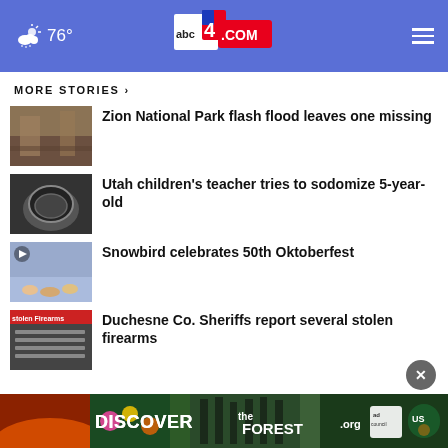76° abc4.com
MORE STORIES ›
Zion National Park flash flood leaves one missing
Utah children's teacher tries to sodomize 5-year-old
Snowbird celebrates 50th Oktoberfest
Duchesne Co. Sheriffs report several stolen firearms
[Figure (screenshot): DISCOVERtheFOREST.org ad banner with Ad Council and US Forest Service logos]